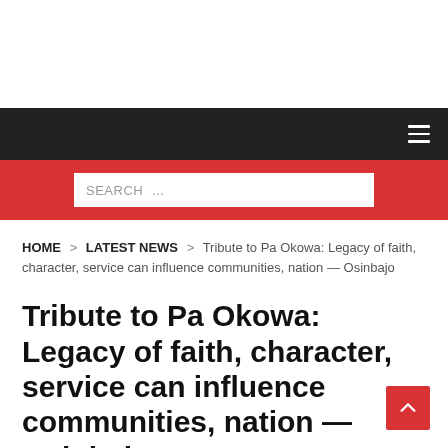Navigation bar with hamburger menu
SEARCH ...
HOME > LATEST NEWS > Tribute to Pa Okowa: Legacy of faith, character, service can influence communities, nation — Osinbajo
Tribute to Pa Okowa: Legacy of faith, character, service can influence communities, nation — Osinbajo